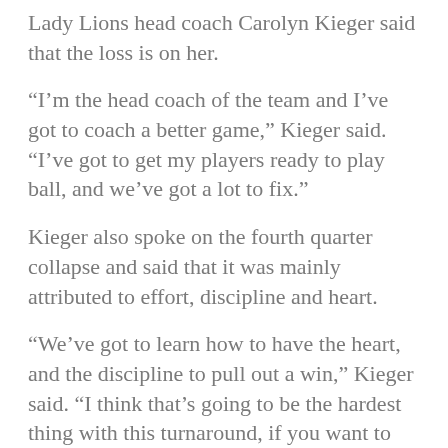Lady Lions head coach Carolyn Kieger said that the loss is on her.
“I’m the head coach of the team and I’ve got to coach a better game,” Kieger said. “I’ve got to get my players ready to play ball, and we’ve got a lot to fix.”
Kieger also spoke on the fourth quarter collapse and said that it was mainly attributed to effort, discipline and heart.
“We’ve got to learn how to have the heart, and the discipline to pull out a win,” Kieger said. “I think that’s going to be the hardest thing with this turnaround, if you want to call it that, or this change of culture. [I have to] teach them how to be winners and not fear losing, and right now, we fear losing. We’re so used to it, and it’s got to change,” Kieger